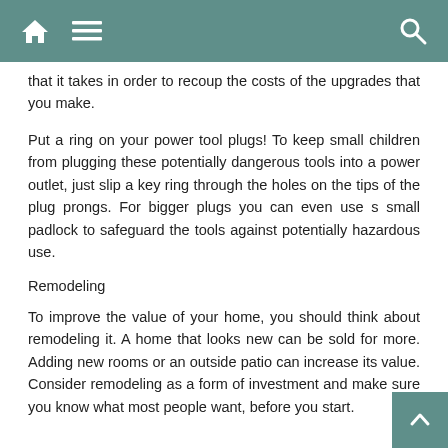navigation bar with home, menu, and search icons
that it takes in order to recoup the costs of the upgrades that you make.
Put a ring on your power tool plugs! To keep small children from plugging these potentially dangerous tools into a power outlet, just slip a key ring through the holes on the tips of the plug prongs. For bigger plugs you can even use s small padlock to safeguard the tools against potentially hazardous use.
Remodeling
To improve the value of your home, you should think about remodeling it. A home that looks new can be sold for more. Adding new rooms or an outside patio can increase its value. Consider remodeling as a form of investment and make sure you know what most people want, before you start.